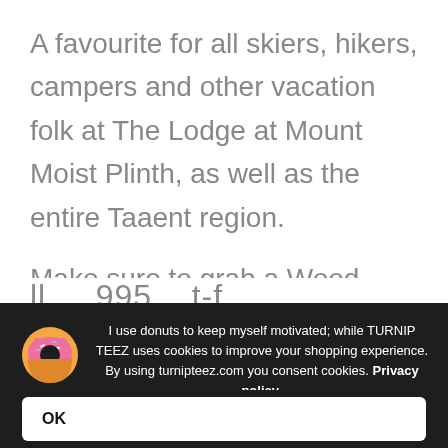A favourite for all skiers, hikers, campers and other vacation folk at The Lodge at Mount Moist Plinth, as well as the entire Taaent region.
Make sure to grab a Wood Morning t-shirt too!
I use donuts to keep myself motivated; while TURNIP TEEZ uses cookies to improve your shopping experience. By using turnipteez.com you consent cookies. Privacy policy.
OK